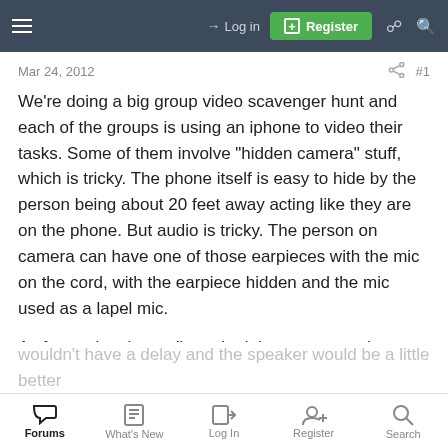Login | Register
Mar 24, 2012   #1
We're doing a big group video scavenger hunt and each of the groups is using an iphone to video their tasks. Some of them involve "hidden camera" stuff, which is tricky. The phone itself is easy to hide by the person being about 20 feet away acting like they are on the phone. But audio is tricky. The person on camera can have one of those earpieces with the mic on the cord, with the earpiece hidden and the mic used as a lapel mic.
As for getting the audio to the iphone camera, I guess we could have a separate phone on speaker and just held up to the camera phone mic, but that sounds like a poor solution. also considered doing the same thing but with 2 way radios which
wouldn't have a delay and the speaker would be a little better
Forums | What's New | Log In | Register | Search